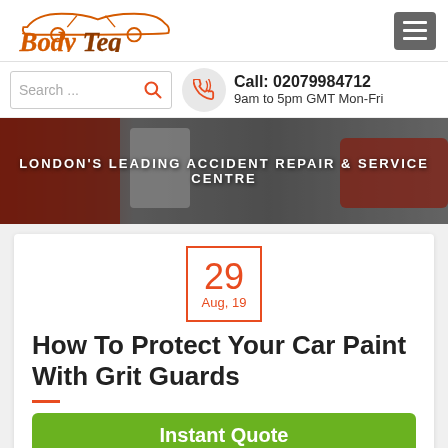[Figure (logo): BodyTeq logo with orange car silhouette and italic script text]
Search ...
Call: 02079984712
9am to 5pm GMT Mon-Fri
[Figure (photo): Person in white suit spraying red car in auto body shop]
LONDON'S LEADING ACCIDENT REPAIR & SERVICE CENTRE
29
Aug, 19
How To Protect Your Car Paint With Grit Guards
Instant Quote